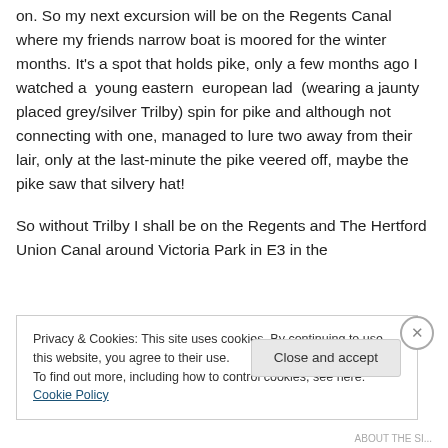on. So my next excursion will be on the Regents Canal where my friends narrow boat is moored for the winter months. It's a spot that holds pike, only a few months ago I watched a  young eastern  european lad  (wearing a jaunty placed grey/silver Trilby) spin for pike and although not connecting with one, managed to lure two away from their lair, only at the last-minute the pike veered off, maybe the pike saw that silvery hat!
So without Trilby I shall be on the Regents and The Hertford Union Canal around Victoria Park in E3 in the
Privacy & Cookies: This site uses cookies. By continuing to use this website, you agree to their use.
To find out more, including how to control cookies, see here: Cookie Policy
Close and accept